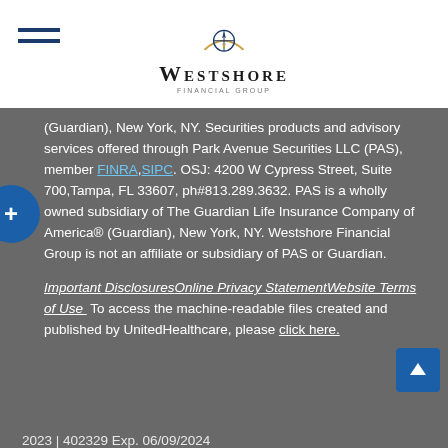Westshore Financial Group
(Guardian), New York, NY. Securities products and advisory services offered through Park Avenue Securities LLC (PAS), member FINRA,SIPC. OSJ: 4200 W Cypress Street, Suite 700,Tampa, FL 33607, ph#813.289.3632. PAS is a wholly owned subsidiary of The Guardian Life Insurance Company of America® (Guardian), New York, NY. Westshore Financial Group is not an affiliate or subsidiary of PAS or Guardian.
Important DisclosuresOnline Privacy StatementWebsite Terms of Use  To access the machine-readable files created and published by UnitedHealthcare, please click here.
2023 | 402329 Exp. 06/09/2024